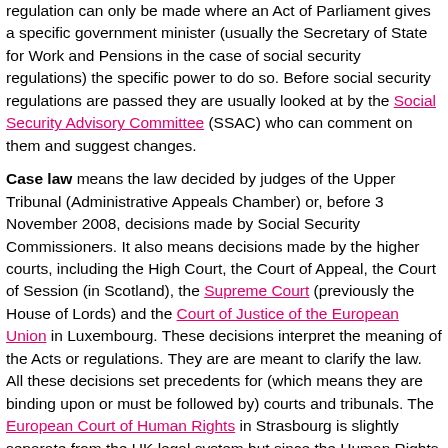regulation can only be made where an Act of Parliament gives a specific government minister (usually the Secretary of State for Work and Pensions in the case of social security regulations) the specific power to do so. Before social security regulations are passed they are usually looked at by the Social Security Advisory Committee (SSAC) who can comment on them and suggest changes. Case law means the law decided by judges of the Upper Tribunal (Administrative Appeals Chamber) or, before 3 November 2008, decisions made by Social Security Commissioners. It also means decisions made by the higher courts, including the High Court, the Court of Appeal, the Court of Session (in Scotland), the Supreme Court (previously the House of Lords) and the Court of Justice of the European Union in Luxembourg. These decisions interpret the meaning of the Acts or regulations. They are are meant to clarify the law. All these decisions set precedents for (which means they are binding upon or must be followed by) courts and tribunals. The European Court of Human Rights in Strasbourg is slightly separate from the UK legal system but since the Human Rights Act 1988 courts and tribunals must take human rights issues into account when deciding cases.